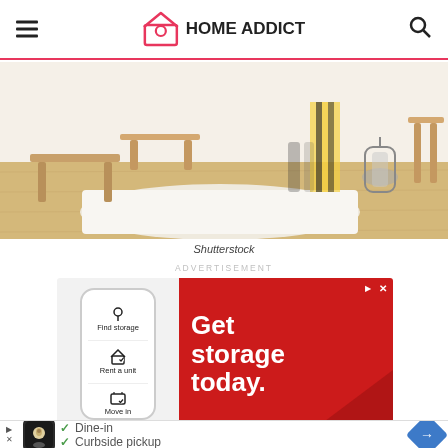HOME ADDICT
[Figure (photo): Interior room photo showing wooden furniture, a white rug, light wood flooring, and a decorative lantern]
Shutterstock
ADVERTISEMENT
[Figure (other): Advertisement banner: Get storage today. Shows a mobile app with Find storage, Rent a unit, Move in options on left side and red background with white text on right.]
Advertisement
[Figure (other): Bottom advertisement with checkmarks for Dine-in and Curbside pickup]